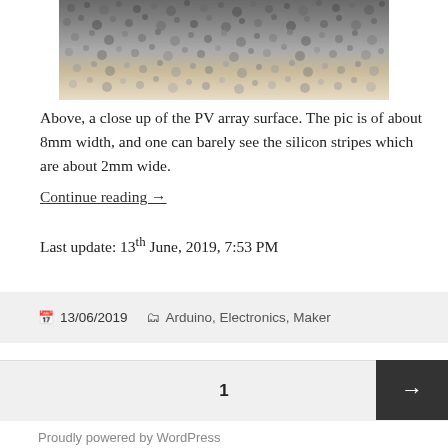[Figure (photo): Close-up photograph of a PV (photovoltaic) array surface showing textured granular pattern, cropped at top, grayscale/beige tones]
Above, a close up of the PV array surface. The pic is of about 8mm width, and one can barely see the silicon stripes which are about 2mm wide.
Continue reading →
Last update: 13th June, 2019, 7:53 PM
13/06/2019   Arduino, Electronics, Maker
1
Proudly powered by WordPress